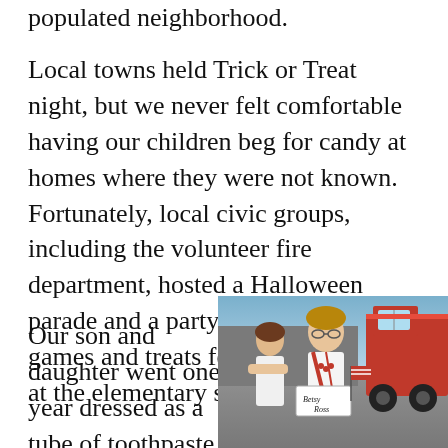populated neighborhood.
Local towns held Trick or Treat night, but we never felt comfortable having our children beg for candy at homes where they were not known. Fortunately, local civic groups, including the volunteer fire department, hosted a Halloween parade and a party with judging, games and treats for all area children at the elementary school.
Our son and daughter went one year dressed as a tube of toothpaste and a toothbrush. M...
[Figure (photo): A girl dressed as Betsy Ross in a white costume holding a sign that reads 'Betsy Ross', standing in front of a red fire truck. An adult woman stands behind her. Outdoor setting, likely a Halloween parade.]